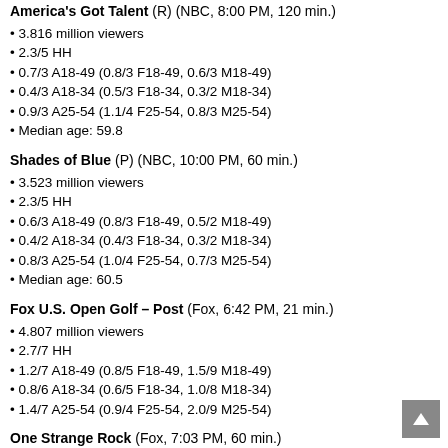America's Got Talent (R) (NBC, 8:00 PM, 120 min.)
3.816 million viewers
2.3/5 HH
0.7/3 A18-49 (0.8/3 F18-49, 0.6/3 M18-49)
0.4/3 A18-34 (0.5/3 F18-34, 0.3/2 M18-34)
0.9/3 A25-54 (1.1/4 F25-54, 0.8/3 M25-54)
Median age: 59.8
Shades of Blue (P) (NBC, 10:00 PM, 60 min.)
3.523 million viewers
2.3/5 HH
0.6/3 A18-49 (0.8/3 F18-49, 0.5/2 M18-49)
0.4/2 A18-34 (0.4/3 F18-34, 0.3/2 M18-34)
0.8/3 A25-54 (1.0/4 F25-54, 0.7/3 M25-54)
Median age: 60.5
Fox U.S. Open Golf – Post (Fox, 6:42 PM, 21 min.)
4.807 million viewers
2.7/7 HH
1.2/7 A18-49 (0.8/5 F18-49, 1.5/9 M18-49)
0.8/6 A18-34 (0.6/5 F18-34, 1.0/8 M18-34)
1.4/7 A25-54 (0.9/4 F25-54, 2.0/9 M25-54)
One Strange Rock (Fox, 7:03 PM, 60 min.)
1.897 million viewers
1.1/3 HH